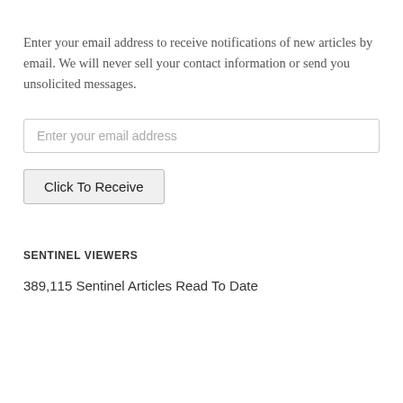Enter your email address to receive notifications of new articles by email. We will never sell your contact information or send you unsolicited messages.
Enter your email address
Click To Receive
SENTINEL VIEWERS
389,115 Sentinel Articles Read To Date